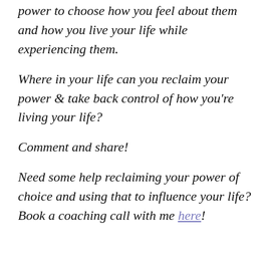power to choose how you feel about them and how you live your life while experiencing them.
Where in your life can you reclaim your power & take back control of how you're living your life?
Comment and share!
Need some help reclaiming your power of choice and using that to influence your life? Book a coaching call with me here!